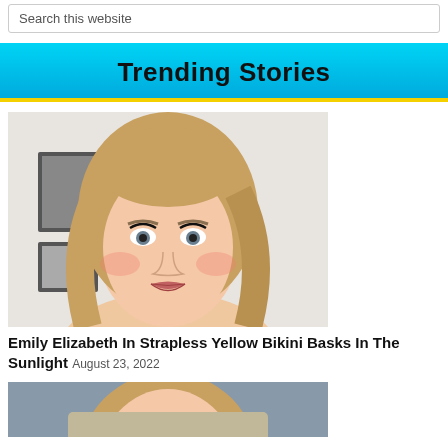Search this website
Trending Stories
[Figure (photo): Portrait photo of a young blonde woman smiling, with long wavy hair, heavy eye makeup, and rosy cheeks. Indoor background with framed art on wall.]
Emily Elizabeth In Strapless Yellow Bikini Basks In The Sunlight August 23, 2022
[Figure (photo): Partial portrait photo of a blonde woman, cropped at bottom of page.]